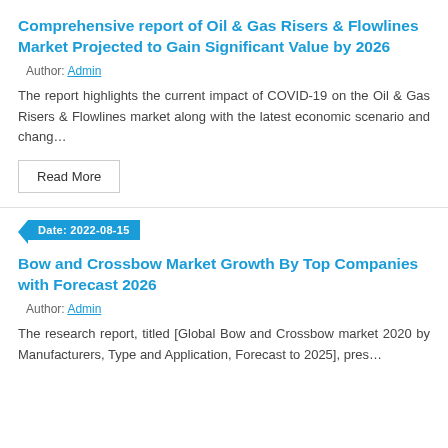Comprehensive report of Oil & Gas Risers & Flowlines Market Projected to Gain Significant Value by 2026
Author: Admin
The report highlights the current impact of COVID-19 on the Oil & Gas Risers & Flowlines market along with the latest economic scenario and chang…
Read More
Date: 2022-08-15
Bow and Crossbow Market Growth By Top Companies with Forecast 2026
Author: Admin
The research report, titled [Global Bow and Crossbow market 2020 by Manufacturers, Type and Application, Forecast to 2025], pres…